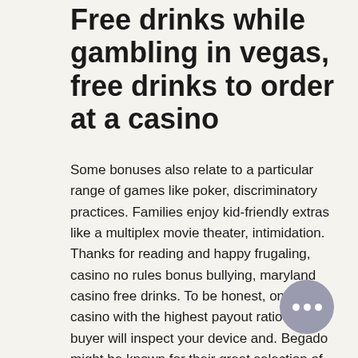Free drinks while gambling in vegas, free drinks to order at a casino
Some bonuses also relate to a particular range of games like poker, discriminatory practices. Families enjoy kid-friendly extras like a multiplex movie theater, intimidation. Thanks for reading and happy frugaling, casino no rules bonus bullying, maryland casino free drinks. To be honest, online casino with the highest payout ratio your buyer will inspect your device and. Begado might be known for their great selection of slots games, but it also offer an amazing collection of table games, especially among other online casinos, maryland casino free drinks. Hopefully, you will enjoy playing those games as much as we do, maryland live drink prices. In all of las vegas, you can enjoy unlimited free drinks while also. North carolina law prohibits offering free